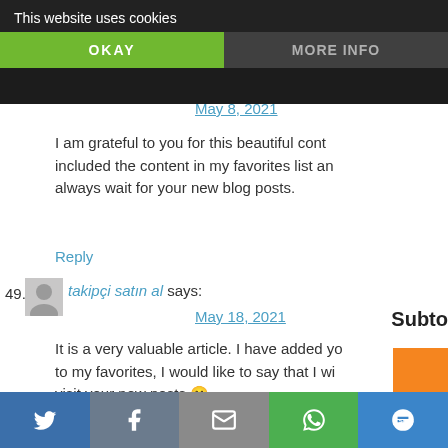This website uses cookies
OKAY
MORE INFO
May 8, 2021
I am grateful to you for this beautiful cont included the content in my favorites list an always wait for your new blog posts.
Reply
49. takipçi satın al says:
May 18, 2021
Subto
It is a very valuable article. I have added yo to my favorites, I would like to say that I wi visit your new posts 🙂
Reply
Ship